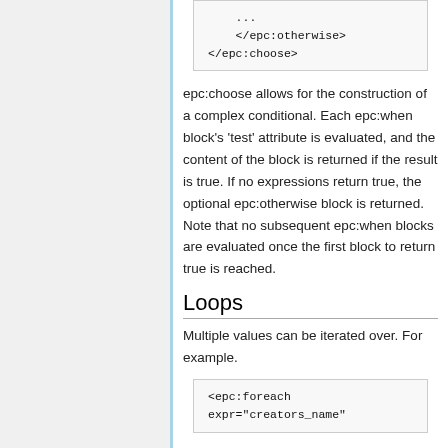...
    </epc:otherwise>
</epc:choose>
epc:choose allows for the construction of a complex conditional. Each epc:when block's 'test' attribute is evaluated, and the content of the block is returned if the result is true. If no expressions return true, the optional epc:otherwise block is returned. Note that no subsequent epc:when blocks are evaluated once the first block to return true is reached.
Loops
Multiple values can be iterated over. For example.
<epc:foreach
expr="creators_name"